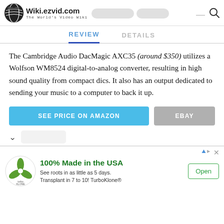Wiki.ezvid.com — The World's Video Wiki
REVIEW | DETAILS
The Cambridge Audio DacMagic AXC35 (around $350) utilizes a Wolfson WM8524 digital-to-analog converter, resulting in high sound quality from compact dics. It also has an output dedicated to sending your music to a computer to back it up.
SEE PRICE ON AMAZON | EBAY
[Figure (infographic): TurboKlone advertisement: logo, headline '100% Made in the USA', body text 'See roots in as little as 5 days. Transplant in 7 to 10! TurboKlone®', Open button]